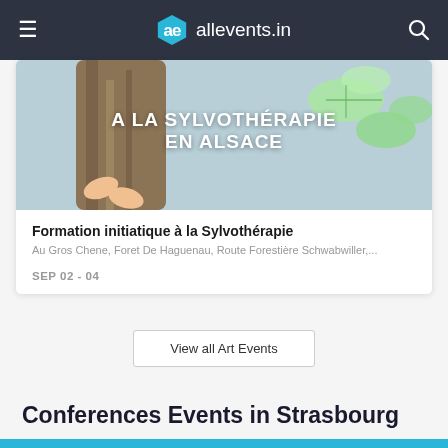allevents.in
[Figure (photo): Event banner image showing person hugging a tree with green leaves, text overlay: A LA SYLVOTHÉRAPIE EN ALSACE]
Formation initiatique à la Sylvothérapie
Au Gros Chene, Foret De Haguenau, Route Forestière Schwabwiller,...
SEP 02 - 04
View all Art Events
Conferences Events in Strasbourg